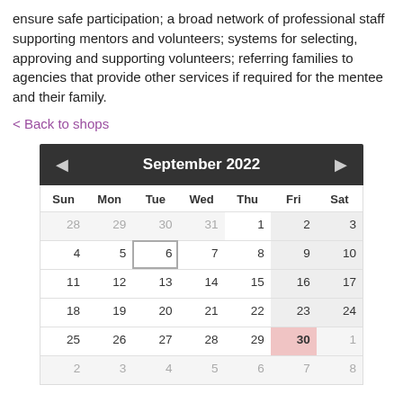ensure safe participation; a broad network of professional staff supporting mentors and volunteers; systems for selecting, approving and supporting volunteers; referring families to agencies that provide other services if required for the mentee and their family.
< Back to shops
[Figure (other): A calendar widget showing September 2022. Days of the week header: Sun Mon Tue Wed Thu Fri Sat. Week rows: 28-29-30-31 (grayed) then 1-2-3; 4-5-6(outlined)-7-8-9-10; 11-12-13-14-15-16-17; 18-19-20-21-22-23-24; 25-26-27-28-29-30(highlighted pink)-1(grayed). Partial row at bottom: 2-3-4-5-6-7-8.]